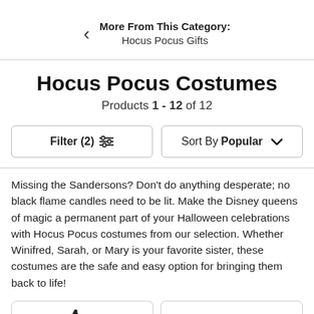More From This Category: Hocus Pocus Gifts
Hocus Pocus Costumes
Products 1 - 12 of 12
Filter (2)   Sort By Popular
Missing the Sandersons? Don't do anything desperate; no black flame candles need to be lit. Make the Disney queens of magic a permanent part of your Halloween celebrations with Hocus Pocus costumes from our selection. Whether Winifred, Sarah, or Mary is your favorite sister, these costumes are the safe and easy option for bringing them back to life!
[Figure (other): Two product card thumbnails partially visible at bottom of page]